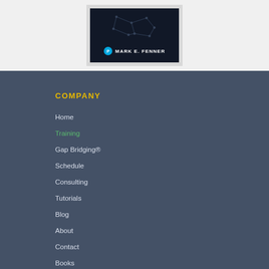[Figure (illustration): Book cover for a book by Mark E. Fenner, dark background with brain imagery, Pearson logo, shown inside a light gray frame/wrapper]
COMPANY
Home
Training
Gap Bridging®
Schedule
Consulting
Tutorials
Blog
About
Contact
Books